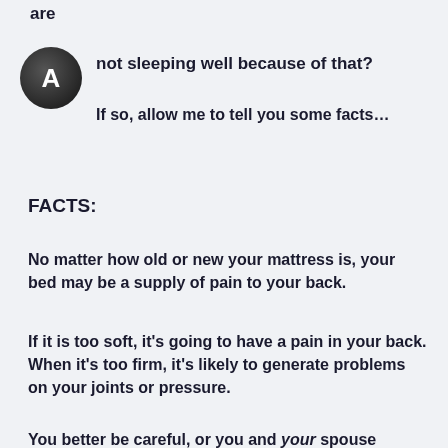are
[Figure (illustration): Dark circular avatar with white letter A]
not sleeping well because of that?

If so, allow me to tell you some facts…
FACTS:
No matter how old or new your mattress is, your bed may be a supply of pain to your back.
If it is too soft, it's going to have a pain in your back. When it's too firm, it's likely to generate problems on your joints or pressure.
You better be careful, or you and your spouse